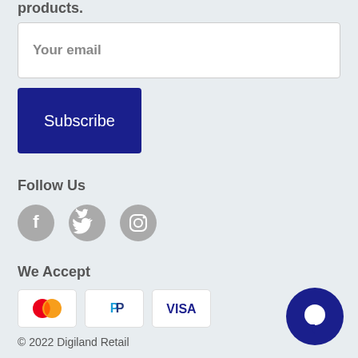products.
Your email
Subscribe
Follow Us
[Figure (illustration): Three social media icons: Facebook, Twitter, Instagram in gray circles]
We Accept
[Figure (illustration): Three payment method icons: Mastercard, PayPal, Visa]
© 2022 Digiland Retail
[Figure (illustration): Dark blue chat bubble icon in bottom right corner]